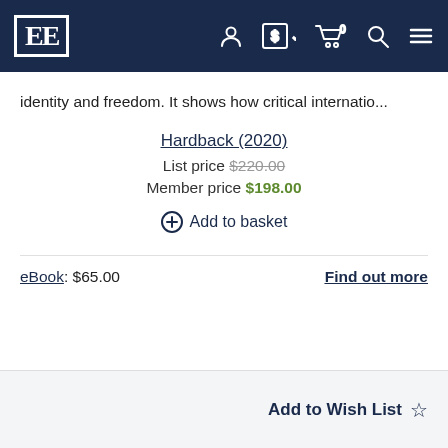EE [logo] navigation bar with icons
identity and freedom. It shows how critical internatio...
Hardback (2020)
List price $220.00
Member price $198.00
Add to basket
eBook: $65.00
Find out more
Add to Wish List ☆